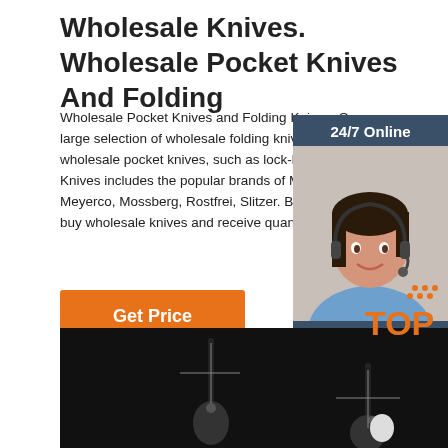Wholesale Knives. Wholesale Pocket Knives And Folding
Wholesale Pocket Knives and Folding Knives. Our large selection of wholesale folding knives and wholesale pocket knives, such as lock-back Lock Knives includes the popular brands of Maxam Knives, Meyerco, Mossberg, Rostfrei, Slitzer. Buy one knife or buy wholesale knives and receive quantity discounts.
[Figure (screenshot): Orange 'Get Price' button]
[Figure (infographic): 24/7 Online chat widget with customer service representative photo, 'Click here for free chat!' text, and orange QUOTATION button on dark blue background]
[Figure (photo): Dark background photo showing pocket knives/folding knives with crosshair targeting overlays]
[Figure (logo): TOP badge with orange dot pattern and orange text]